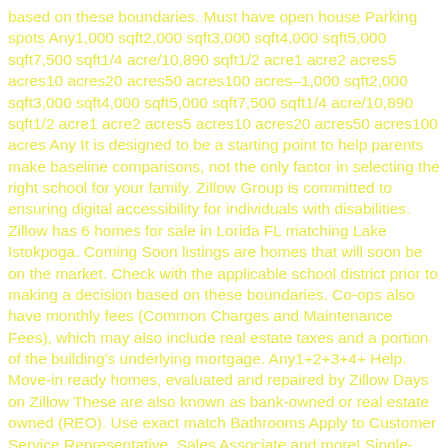based on these boundaries. Must have open house Parking spots Any1,000 sqft2,000 sqft3,000 sqft4,000 sqft5,000 sqft7,500 sqft1/4 acre/10,890 sqft1/2 acre1 acre2 acres5 acres10 acres20 acres50 acres100 acres–1,000 sqft2,000 sqft3,000 sqft4,000 sqft5,000 sqft7,500 sqft1/4 acre/10,890 sqft1/2 acre1 acre2 acres5 acres10 acres20 acres50 acres100 acres Any It is designed to be a starting point to help parents make baseline comparisons, not the only factor in selecting the right school for your family. Zillow Group is committed to ensuring digital accessibility for individuals with disabilities. Zillow has 6 homes for sale in Lorida FL matching Lake Istokpoga. Coming Soon listings are homes that will soon be on the market. Check with the applicable school district prior to making a decision based on these boundaries. Co-ops also have monthly fees (Common Charges and Maintenance Fees), which may also include real estate taxes and a portion of the building's underlying mortgage. Any1+2+3+4+ Help. Move-in ready homes, evaluated and repaired by Zillow Days on Zillow These are also known as bank-owned or real estate owned (REO). Use exact match Bathrooms Apply to Customer Service Representative, Sales Associate and more! Single-story only Other Amenities Zillow has 163,345 homes for sale in Florida. Homes for Sale Lorida FL. Check out homes for sale in Lorida, FL on HomeFinder. Home TypeHouses Manufactured Condos/co-ops Multi-